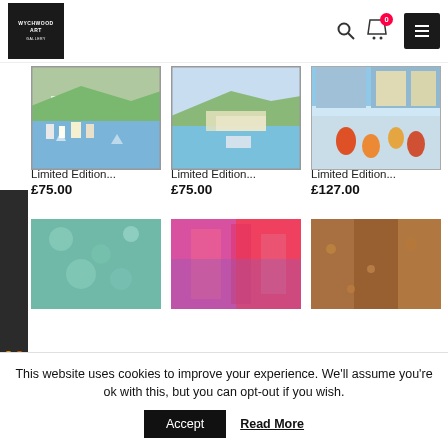[Figure (logo): Wychwood Art Gallery logo - white text on black background]
[Figure (screenshot): Shopping cart icon with badge showing 0, search icon, and hamburger menu button]
[Figure (illustration): Feefo Reviews sidebar badge on dark background]
[Figure (photo): Limited Edition art print showing coastal town with boats]
Limited Edition...
£75.00
[Figure (photo): Limited Edition art print showing coastal hillside scene]
Limited Edition...
£75.00
[Figure (photo): Limited Edition art print showing harbour with colourful boats]
Limited Edition...
£127.00
[Figure (photo): Partial view of a teal/green abstract art print]
[Figure (photo): Partial view of a pink/red abstract art print]
[Figure (photo): Partial view of a brown/golden textured art print]
This website uses cookies to improve your experience. We'll assume you're ok with this, but you can opt-out if you wish.
Accept
Read More